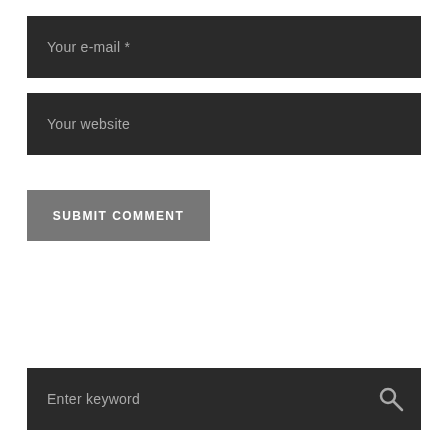Your e-mail *
Your website
SUBMIT COMMENT
Enter keyword